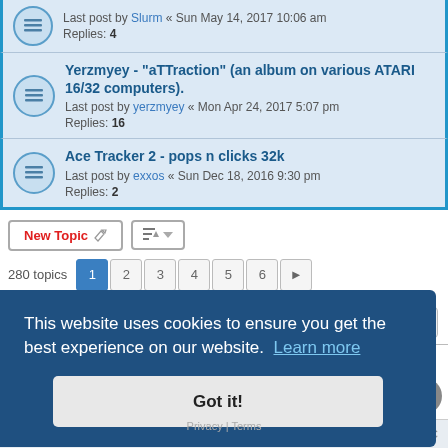Last post by Slurm « Sun May 14, 2017 10:06 am
Replies: 4
Yerzmyey - "aTTraction" (an album on various ATARI 16/32 computers).
Last post by yerzmyey « Mon Apr 24, 2017 5:07 pm
Replies: 16
Ace Tracker 2 - pops n clicks 32k
Last post by exxos « Sun Dec 18, 2016 9:30 pm
Replies: 2
New Topic
280 topics   1 2 3 4 5 6 >
Jump to
FORUM PERMISSIONS
This website uses cookies to ensure you get the best experience on our website. Learn more
Got it!
Board index   All times are UTC
Privacy | Terms